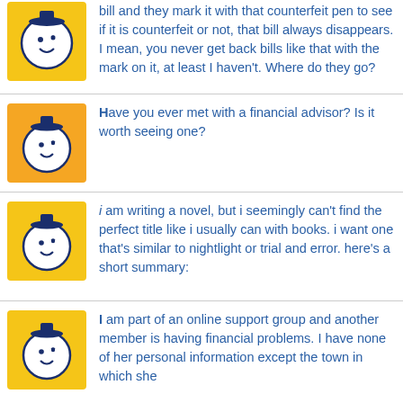bill and they mark it with that counterfeit pen to see if it is counterfeit or not, that bill always disappears. I mean, you never get back bills like that with the mark on it, at least I haven't. Where do they go?
Have you ever met with a financial advisor? Is it worth seeing one?
i am writing a novel, but i seemingly can't find the perfect title like i usually can with books. i want one that's similar to nightlight or trial and error. here's a short summary:
I am part of an online support group and another member is having financial problems. I have none of her personal information except the town in which she